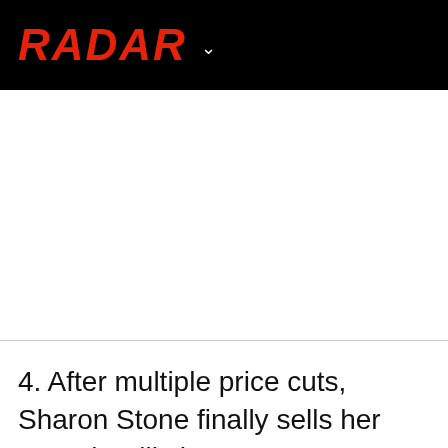RADAR
4. After multiple price cuts, Sharon Stone finally sells her Beverly Hills home.